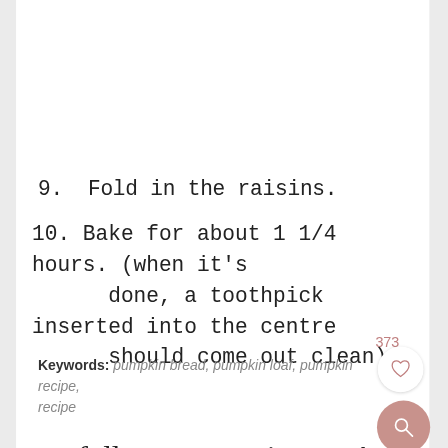9. Fold in the raisins.
10. Bake for about 1 1/4 hours. (when it's done, a toothpick inserted into the centre should come out clean)
Keywords: pumpkin bread, pumpkin loaf, pumpkin recipe, recipe
follow me on pinterest!
Mention @savorybitrecipes so I can see what you made!